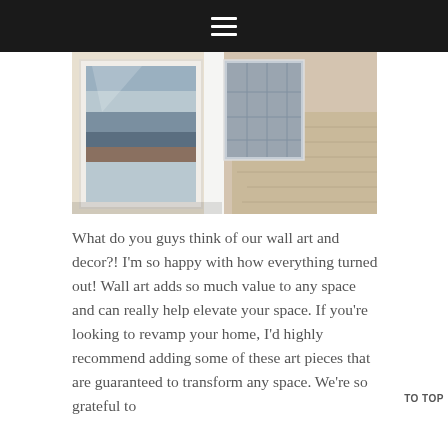≡
[Figure (photo): Close-up photograph of framed wall art pieces with white frames leaning or hanging; light wood flooring visible in background]
What do you guys think of our wall art and decor?! I'm so happy with how everything turned out! Wall art adds so much value to any space and can really help elevate your space. If you're looking to revamp your home, I'd highly recommend adding some of these art pieces that are guaranteed to transform any space. We're so grateful to